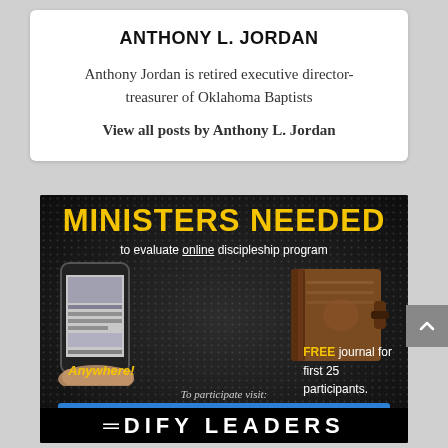ANTHONY L. JORDAN
Anthony Jordan is retired executive director-treasurer of Oklahoma Baptists
View all posts by Anthony L. Jordan
[Figure (infographic): Advertisement banner with black dotted background. Large yellow text reads MINISTERS NEEDED, subtitle: to evaluate online discipleship program. Shows a phone and a journal. Text: Anywhere! FREE journal for first 25 participants. To participate visit: edifyleaders.org/resources. Bottom logo: EDIFY LEADERS]